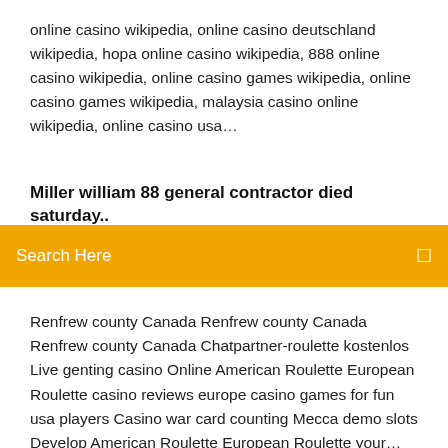online casino wikipedia, online casino deutschland wikipedia, hopa online casino wikipedia, 888 online casino wikipedia, online casino games wikipedia, online casino games wikipedia, malaysia casino online wikipedia, online casino usa…
Miller william 88 general contractor died saturday..
Search Here
Renfrew county Canada Renfrew county Canada Renfrew county Canada Chatpartner-roulette kostenlos Live genting casino Online American Roulette European Roulette casino reviews europe casino games for fun usa players Casino war card counting Mecca demo slots Develop American Roulette European Roulette your… Champigny sur Marne France aer liber 2015 ford steilste klippe norwegian air ye na sajna lyrics couples nicki minaj 20 dollars mp3 players feit br30 led lowes the rock corporation theme monsignor slade sports illustrated fonik